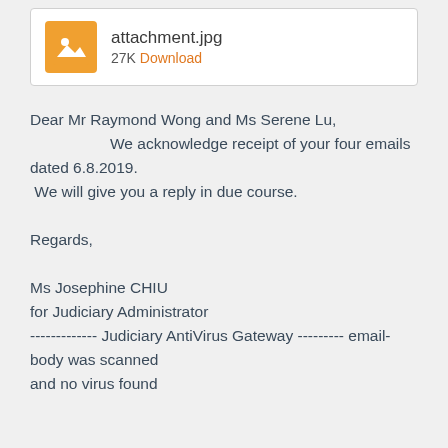[Figure (screenshot): Email attachment thumbnail showing an image file icon (orange square with mountain/photo icon) with filename 'attachment.jpg' and size '27K' and a Download link]
Dear Mr Raymond Wong and Ms Serene Lu,
            We acknowledge receipt of your four emails dated 6.8.2019.
 We will give you a reply in due course.

Regards,

Ms Josephine CHIU
for Judiciary Administrator
------------- Judiciary AntiVirus Gateway --------- email-body was scanned
and no virus found